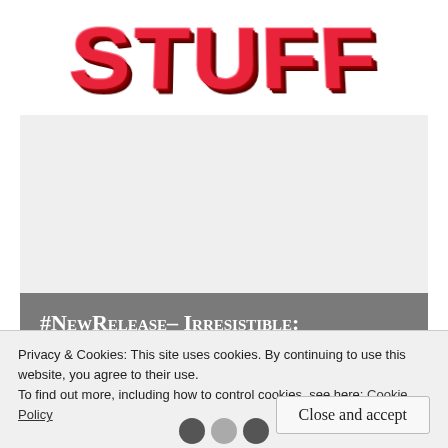[Figure (logo): Bold red 3D-style word 'STUFF' logo with dark red shadow and white highlight, uppercase, on white background]
[Figure (other): Light gray rectangular advertisement placeholder area]
#NewRelease– Irresistible: Madly in Love with a
Privacy & Cookies: This site uses cookies. By continuing to use this website, you agree to their use.
To find out more, including how to control cookies, see here: Cookie Policy
Close and accept